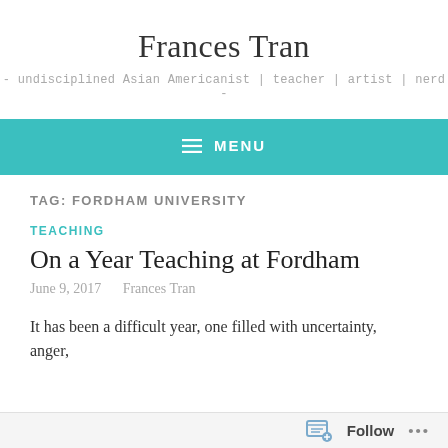Frances Tran
- undisciplined Asian Americanist | teacher | artist | nerd -
MENU
TAG: FORDHAM UNIVERSITY
TEACHING
On a Year Teaching at Fordham
June 9, 2017   Frances Tran
It has been a difficult year, one filled with uncertainty, anger,
Follow ...